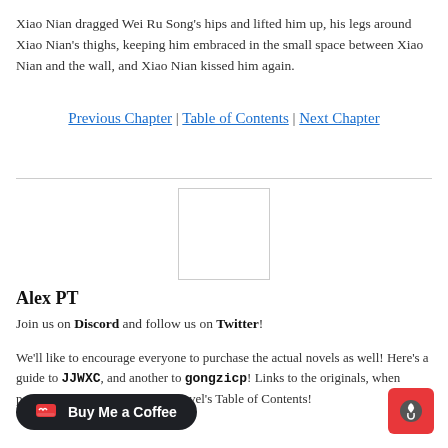Xiao Nian dragged Wei Ru Song's hips and lifted him up, his legs around Xiao Nian's thighs, keeping him embraced in the small space between Xiao Nian and the wall, and Xiao Nian kissed him again.
Previous Chapter | Table of Contents | Next Chapter
[Figure (photo): Square avatar image placeholder with light gray border]
Alex PT
Join us on Discord and follow us on Twitter!
We'll like to encourage everyone to purchase the actual novels as well! Here's a guide to JJWXC, and another to gongzicp! Links to the originals, when possible, can be found in each novel's Table of Contents!
[Figure (logo): Buy Me a Coffee button — dark rounded rectangle with heart icon and white text]
[Figure (logo): Ko-fi icon — red square with moon/crescent symbol]